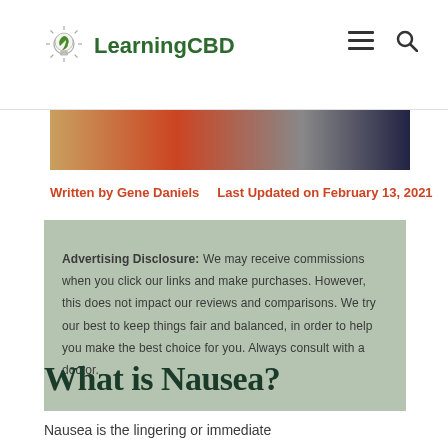LearningCBD
[Figure (photo): Hero image strip showing people in warm colors — red, grey, dark tones]
Written by Gene Daniels   Last Updated on February 13, 2021
Advertising Disclosure: We may receive commissions when you click our links and make purchases. However, this does not impact our reviews and comparisons. We try our best to keep things fair and balanced, in order to help you make the best choice for you. Always consult with a doctor.
What is Nausea?
Nausea is the lingering or immediate